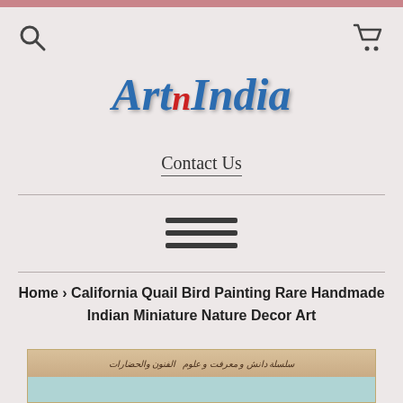ArtNIndia
Contact Us
Home › California Quail Bird Painting Rare Handmade Indian Miniature Nature Decor Art
[Figure (photo): Partial view of a miniature Indian painting showing calligraphy text strip at top and teal/light blue background below]